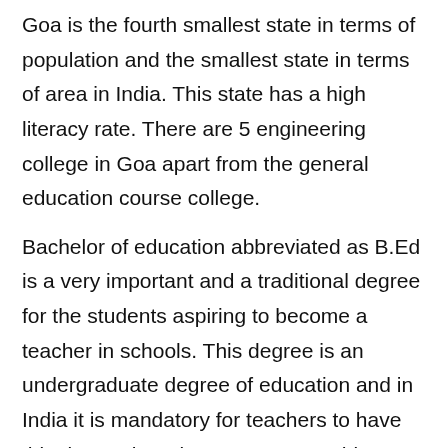Goa is the fourth smallest state in terms of population and the smallest state in terms of area in India. This state has a high literacy rate. There are 5 engineering college in Goa apart from the general education course college.
Bachelor of education abbreviated as B.Ed is a very important and a traditional degree for the students aspiring to become a teacher in schools. This degree is an undergraduate degree of education and in India it is mandatory for teachers to have this degree in order to pursue teaching.
Course details: Most of the college provides a one year secondary teacher education